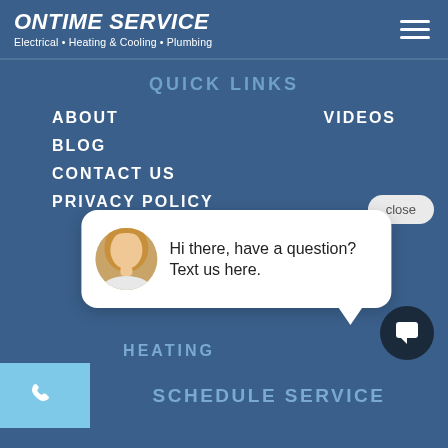ONTIME SERVICE
Electrical • Heating & Cooling • Plumbing
QUICK LINKS
ABOUT
VIDEOS
BLOG
CONTACT US
PRIVACY POLICY
[Figure (screenshot): Chat popup widget with avatar photo of a woman, close button, and message: Hi there, have a question? Text us here.]
close
Hi there, have a question? Text us here.
HEATING
SCHEDULE SERVICE